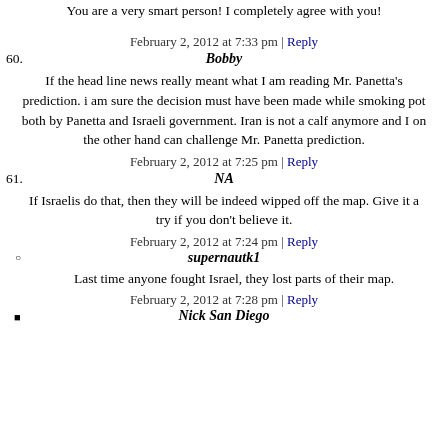You are a very smart person! I completely agree with you!
February 2, 2012 at 7:33 pm | Reply
60. Bobby
If the head line news really meant what I am reading Mr. Panetta's prediction. i am sure the decision must have been made while smoking pot both by Panetta and Israeli government. Iran is not a calf anymore and I on the other hand can challenge Mr. Panetta prediction.
February 2, 2012 at 7:25 pm | Reply
61. NA
If Israelis do that, then they will be indeed wipped off the map. Give it a try if you don't believe it.
February 2, 2012 at 7:24 pm | Reply
supernautk1
Last time anyone fought Israel, they lost parts of their map.
February 2, 2012 at 7:28 pm | Reply
Nick San Diego